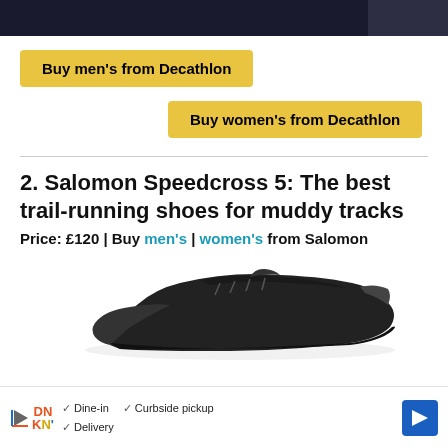[Figure (photo): Top portion of a product/article page showing a dark image banner at the top (partially visible)]
Buy men's from Decathlon
Buy women's from Decathlon
2. Salomon Speedcross 5: The best trail-running shoes for muddy tracks
Price: £120 | Buy men's | women's from Salomon
[Figure (photo): Black Salomon Speedcross 5 trail running shoe, shown from the side, partially visible]
[Figure (other): Advertisement bar for Dunkin' Donuts showing Dine-in, Curbside pickup, Delivery options with a navigation arrow icon]